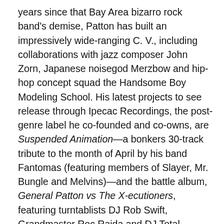years since that Bay Area bizarro rock band's demise, Patton has built an impressively wide-ranging C. V., including collaborations with jazz composer John Zorn, Japanese noisegod Merzbow and hip-hop concept squad the Handsome Boy Modeling School. His latest projects to see release through Ipecac Recordings, the post-genre label he co-founded and co-owns, are Suspended Animation—a bonkers 30-track tribute to the month of April by his band Fantomas (featuring members of Slayer, Mr. Bungle and Melvins)—and the battle album, General Patton vs The X-ecutioners, featuring turntablists DJ Rob Swift, Grandmaster Roc Raida and DJ Total Eclipse. For his turn in the Arthur kitchen, Patton selected a dish that was featured on his record of futurist recipes Pranzo Oltranzista: Musica da Ravola per Cinque (Banquet Piece for Five Players), released on Zorn's Tzadik label in 1997.